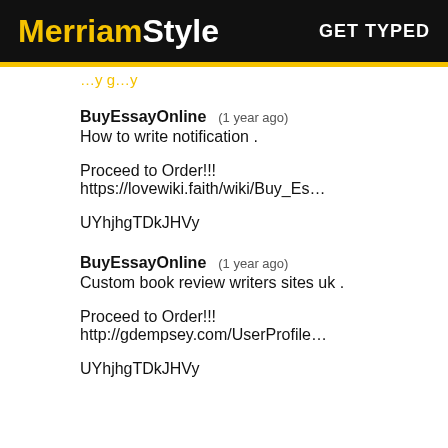MerriamStyle  GET TYPED
(truncated top link text)
BuyEssayOnline    (1 year ago)
How to write notification .
Proceed to Order!!! https://lovewiki.faith/wiki/Buy_Es…
UYhjhgTDkJHVy
BuyEssayOnline    (1 year ago)
Custom book review writers sites uk .
Proceed to Order!!! http://gdempsey.com/UserProfile…
UYhjhgTDkJHVy